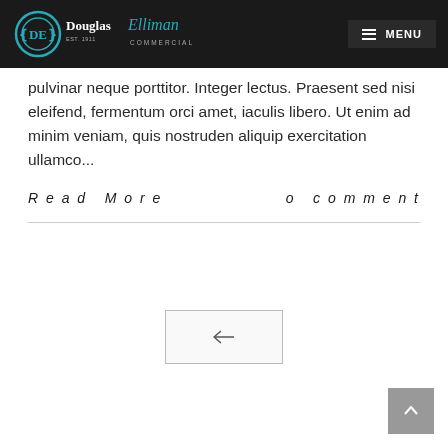Douglas Elliman Commercial — MENU
pulvinar neque porttitor. Integer lectus. Praesent sed nisi eleifend, fermentum orci amet, iaculis libero. Ut enim ad minim veniam, quis nostruden aliquip exercitation ullamco...
Read More   o comment
[Figure (other): Left-arrow pagination button]
[Figure (other): Back to top button with upward chevron]